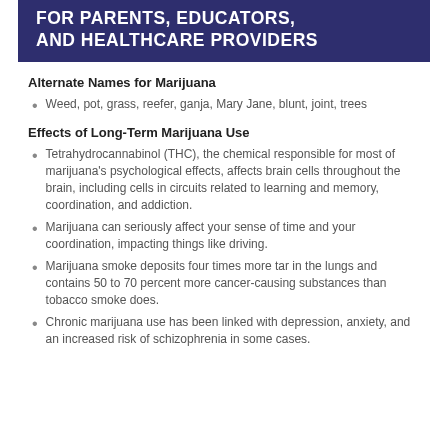FOR PARENTS, EDUCATORS, AND HEALTHCARE PROVIDERS
Alternate Names for Marijuana
Weed, pot, grass, reefer, ganja, Mary Jane, blunt, joint, trees
Effects of Long-Term Marijuana Use
Tetrahydrocannabinol (THC), the chemical responsible for most of marijuana's psychological effects, affects brain cells throughout the brain, including cells in circuits related to learning and memory, coordination, and addiction.
Marijuana can seriously affect your sense of time and your coordination, impacting things like driving.
Marijuana smoke deposits four times more tar in the lungs and contains 50 to 70 percent more cancer-causing substances than tobacco smoke does.
Chronic marijuana use has been linked with depression, anxiety, and an increased risk of schizophrenia in some cases.